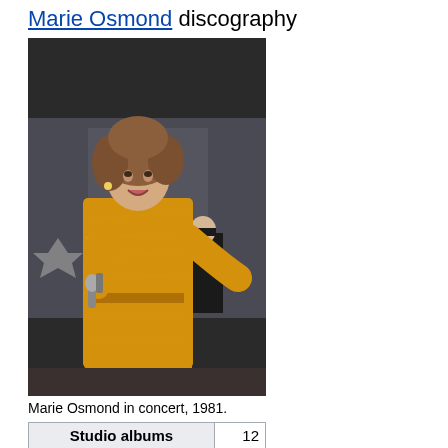Marie Osmond discography
[Figure (photo): Marie Osmond performing in concert in 1981, wearing a golden sequined dress and holding a microphone, with a sailor visible in the background.]
Marie Osmond in concert, 1981.
| Studio albums | 12 |